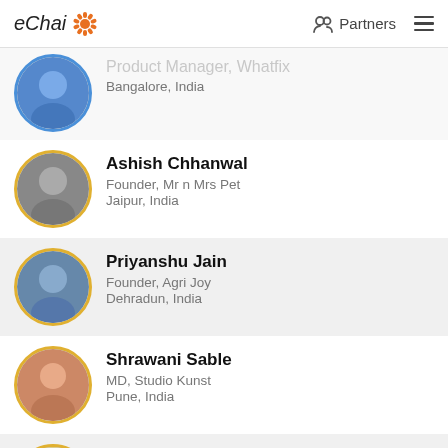eChai | Partners
Product Manager, Whatfix
Bangalore, India
Ashish Chhanwal
Founder, Mr n Mrs Pet
Jaipur, India
Priyanshu Jain
Founder, Agri Joy
Dehradun, India
Shrawani Sable
MD, Studio Kunst
Pune, India
Jason Fernandes
CBO, NFTechnologies
Goa, India
Ebin Ephrem Elavathingal
GM, BITS BIRAC BioNEST, Goa
Goa, India